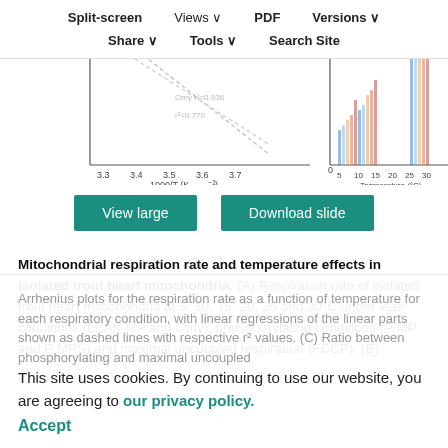[Figure (other): Partial view of two scientific charts (Arrhenius plot and temperature vs respiration rate bar chart) behind a navigation overlay. Left chart shows 1000/T (K-1) on x-axis (3.3-3.7). Right chart shows Temperature (°C) on x-axis (5-30).]
Split-screen  Views  PDF  Versions  Share  Tools  Search Site
View large   Download slide
Mitochondrial respiration rate and temperature effects in isolated trout heart mitochondria. (A) Respiration rate of isolated trout heart mitochondria at 5, 10, 15, 20, 25 and 30°C under leak conditions (LEAK MP and Omy), phosphorylating conditions (P MP and P MPS) and maximal uncoupled respiration (FCCP). (B)
Arrhenius plots for the respiration rate as a function of temperature for each respiratory condition, with linear regressions of the linear parts shown as dashed lines with respective r² values. (C) Ratio between phosphorylating and maximal uncoupled
This site uses cookies. By continuing to use our website, you are agreeing to our privacy policy. Accept